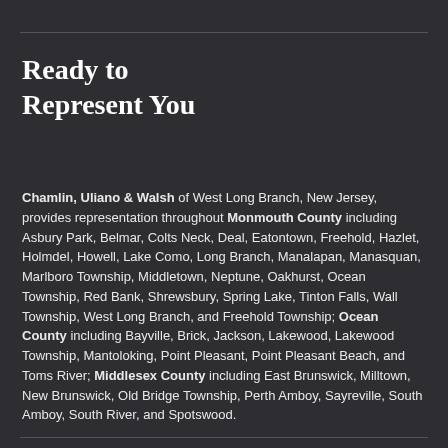Ready to Represent You
Chamlin, Uliano & Walsh of West Long Branch, New Jersey, provides representation throughout Monmouth County including Asbury Park, Belmar, Colts Neck, Deal, Eatontown, Freehold, Hazlet, Holmdel, Howell, Lake Como, Long Branch, Manalapan, Manasquan, Marlboro Township, Middletown, Neptune, Oakhurst, Ocean Township, Red Bank, Shrewsbury, Spring Lake, Tinton Falls, Wall Township, West Long Branch, and Freehold Township; Ocean County including Bayville, Brick, Jackson, Lakewood, Lakewood Township, Mantoloking, Point Pleasant, Point Pleasant Beach, and Toms River; Middlesex County including East Brunswick, Milltown, New Brunswick, Old Bridge Township, Perth Amboy, Sayreville, South Amboy, South River, and Spotswood.